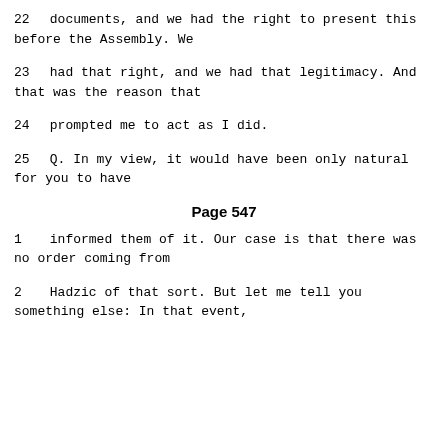22     documents, and we had the right to present this before the Assembly.  We
23     had that right, and we had that legitimacy. And that was the reason that
24     prompted me to act as I did.
25      Q.   In my view, it would have been only natural for you to have
Page 547
1      informed them of it.  Our case is that there was no order coming from
2      Hadzic of that sort.  But let me tell you something else:  In that event,